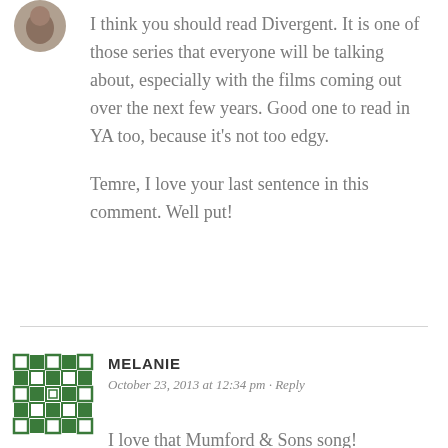[Figure (photo): Circular avatar photo of a person, partially visible at top left]
I think you should read Divergent. It is one of those series that everyone will be talking about, especially with the films coming out over the next few years. Good one to read in YA too, because it's not too edgy.

Temre, I love your last sentence in this comment. Well put!
[Figure (illustration): Green decorative snowflake/quilt pattern avatar icon for user Melanie]
MELANIE
October 23, 2013 at 12:34 pm · Reply
I love that Mumford & Sons song! I'm reading The Dream Thieves right now